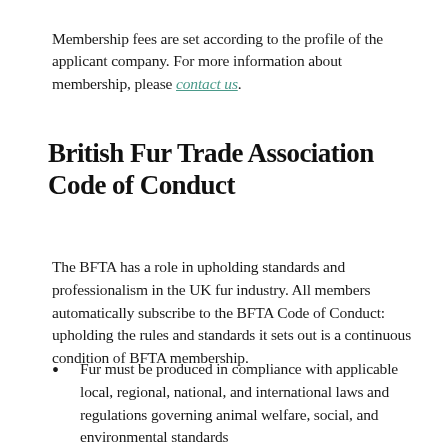Membership fees are set according to the profile of the applicant company. For more information about membership, please contact us.
British Fur Trade Association Code of Conduct
The BFTA has a role in upholding standards and professionalism in the UK fur industry. All members automatically subscribe to the BFTA Code of Conduct: upholding the rules and standards it sets out is a continuous condition of BFTA membership.
Fur must be produced in compliance with applicable local, regional, national, and international laws and regulations governing animal welfare, social, and environmental standards